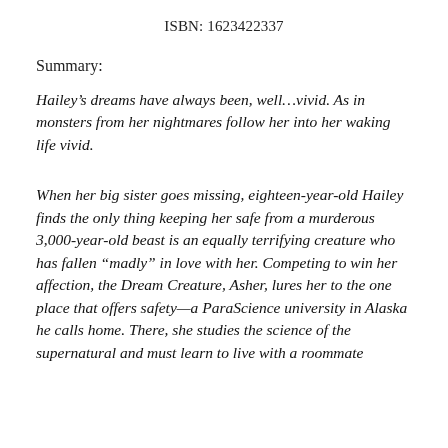ISBN: 1623422337
Summary:
Hailey’s dreams have always been, well…vivid. As in monsters from her nightmares follow her into her waking life vivid.
When her big sister goes missing, eighteen-year-old Hailey finds the only thing keeping her safe from a murderous 3,000-year-old beast is an equally terrifying creature who has fallen “madly” in love with her. Competing to win her affection, the Dream Creature, Asher, lures her to the one place that offers safety—a ParaScience university in Alaska he calls home. There, she studies the science of the supernatural and must learn to live with a roommate